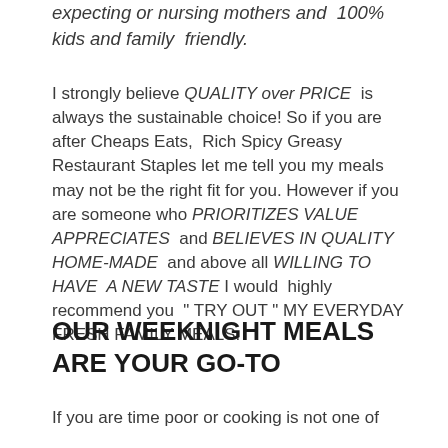expecting or nursing mothers and 100% kids and family friendly.
I strongly believe QUALITY over PRICE is always the sustainable choice! So if you are after Cheaps Eats, Rich Spicy Greasy Restaurant Staples let me tell you my meals may not be the right fit for you. However if you are someone who PRIORITIZES VALUE APPRECIATES and BELIEVES IN QUALITY HOME-MADE and above all WILLING TO HAVE A NEW TASTE I would highly recommend you " TRY OUT " MY EVERYDAY FRESH FAMILY MEALS.
OUR WEEKNIGHT MEALS ARE YOUR GO-TO
If you are time poor or cooking is not one of